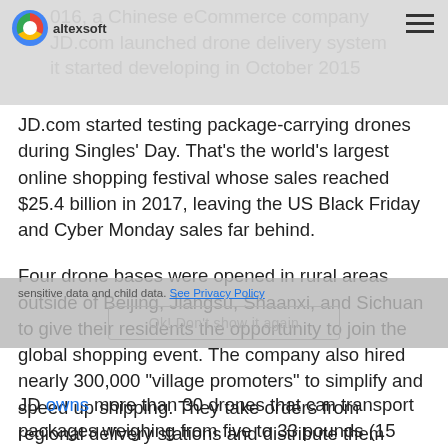016, a Chinese eCommerce company JD.com launched drone delivery system it started developing in October 2015
JD.com started testing package-carrying drones during Singles' Day. That's the world's largest online shopping festival whose sales reached $25.4 billion in 2017, leaving the US Black Friday and Cyber Monday sales far behind.
Four drone bases were opened in rural areas outside of Beijing, Jiangsu, Shaanxi, and Sichuan to give their residents the opportunity to join the global shopping event. The company also hired nearly 300,000 "village promoters" to simplify and speed up shipping. They take orders from regional delivery stations and distribute them directly to customers.
JD owns more than 30 drones that can transport packages weighing from five to 33 pounds (15 kilos) for a distance of